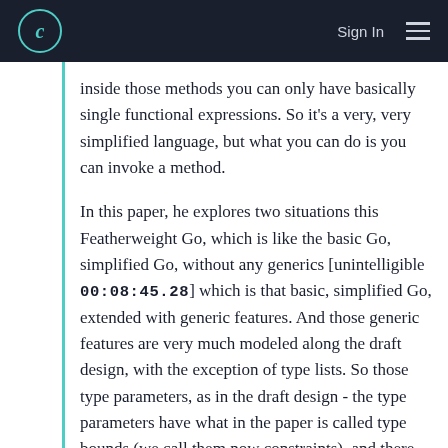c  Sign In  ☰
inside those methods you can only have basically single functional expressions. So it's a very, very simplified language, but what you can do is you can invoke a method.
In this paper, he explores two situations this Featherweight Go, which is like the basic Go, simplified Go, without any generics [unintelligible 00:08:45.28] which is that basic, simplified Go, extended with generic features. And those generic features are very much modeled along the draft design, with the exception of type lists. So those type parameters, as in the draft design - the type parameters have what in the paper is called type bounds (we call them now constraints), and there are interfaces, there are also